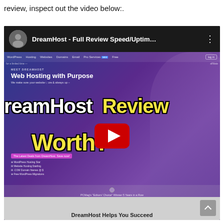review, inspect out the video below:.
[Figure (screenshot): YouTube video thumbnail screenshot showing 'DreamHost - Full Review Speed/Uptim...' video. The video thumbnail shows the DreamHost website with overlay text 'DreamHost Review Worth?' in white and yellow bold fonts, with a YouTube play button in the center. The DreamHost site shows 'Web Hosting with Purpose' heading, navigation bar, deals section, and PCMag Editors' Choice banner.]